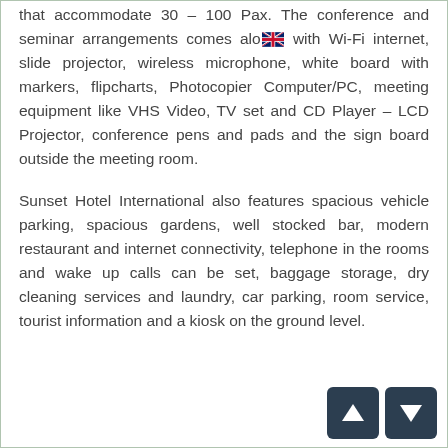that accommodate 30 – 100 Pax. The conference and seminar arrangements comes along with Wi-Fi internet, slide projector, wireless microphone, white board with markers, flipcharts, Photocopier Computer/PC, meeting equipment like VHS Video, TV set and CD Player – LCD Projector, conference pens and pads and the sign board outside the meeting room.
Sunset Hotel International also features spacious vehicle parking, spacious gardens, well stocked bar, modern restaurant and internet connectivity, telephone in the rooms and wake up calls can be set, baggage storage, dry cleaning services and laundry, car parking, room service, tourist information and a kiosk on the ground level.
[Figure (other): Navigation up and down arrow buttons in dark navy rounded squares]